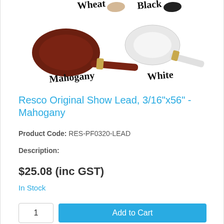[Figure (photo): Product photo showing four rolls/spools of show lead rope in different colors: Wheat (beige), Black, Mahogany (dark brown), and White, labeled with cursive text]
Resco Original Show Lead, 3/16"x56" - Mahogany
Product Code: RES-PF0320-LEAD
Description:
$25.08 (inc GST)
In Stock